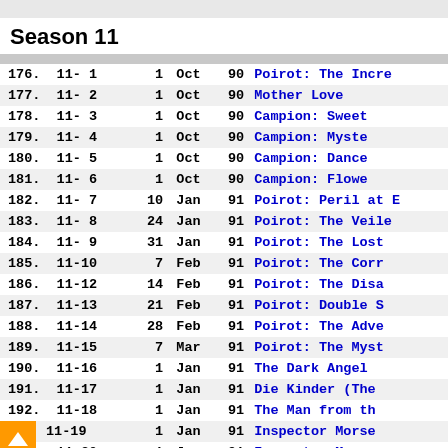Season 11
| # | Ep | Day | Mon | Yr | Title |
| --- | --- | --- | --- | --- | --- |
| 176. | 11- 1 | 1 | Oct | 90 | Poirot: The Incre... |
| 177. | 11- 2 | 1 | Oct | 90 | Mother Love |
| 178. | 11- 3 | 1 | Oct | 90 | Campion: Sweet... |
| 179. | 11- 4 | 1 | Oct | 90 | Campion: Myste... |
| 180. | 11- 5 | 1 | Oct | 90 | Campion: Dance... |
| 181. | 11- 6 | 1 | Oct | 90 | Campion: Flowe... |
| 182. | 11- 7 | 10 | Jan | 91 | Poirot: Peril at E... |
| 183. | 11- 8 | 24 | Jan | 91 | Poirot: The Veile... |
| 184. | 11- 9 | 31 | Jan | 91 | Poirot: The Lost... |
| 185. | 11-10 | 7 | Feb | 91 | Poirot: The Corr... |
| 186. | 11-12 | 14 | Feb | 91 | Poirot: The Disa... |
| 187. | 11-13 | 21 | Feb | 91 | Poirot: Double S... |
| 188. | 11-14 | 28 | Feb | 91 | Poirot: The Adve... |
| 189. | 11-15 | 7 | Mar | 91 | Poirot: The Myst... |
| 190. | 11-16 | 1 | Jan | 91 | The Dark Angel |
| 191. | 11-17 | 1 | Jan | 91 | Die Kinder (The... |
| 192. | 11-18 | 1 | Jan | 91 | The Man from th... |
| 193. | 11-19 | 1 | Jan | 91 | Inspector Morse... |
| 194. | 11-20 | 1 | Jan | 91 | Inspector Morse... |
| 195. | 11-21 | 1 | Jan | 91 | Inspector Morse... |